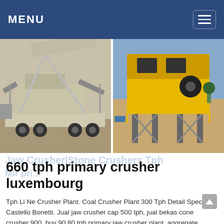MENU
[Figure (photo): Two industrial crusher machines: left shows a mobile jaw crusher on a flatbed truck trailer (beige/grey), right shows a yellow elevated crushing/screening plant structure at a mining site.]
660 tph primary crusher luxembourg
Tph Li Ne Crusher Plant. Coal Crusher Plant 300 Tph Detail Spec Castello Bonetti. Jual jaw crusher cap 500 tph, jual bekas cone crusher 900, buy 90 80 tph primary jaw crusher plant, aggregate processing plant 60 tph, rate of 60 at online li ne crusher 60 tph videos